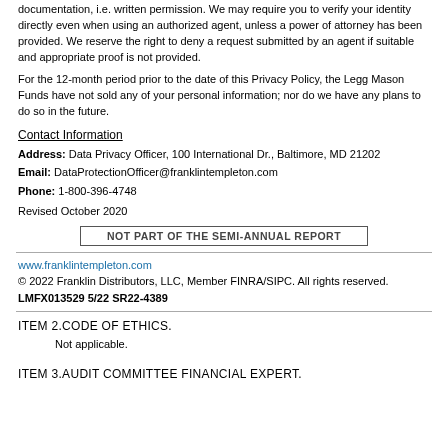documentation, i.e. written permission. We may require you to verify your identity directly even when using an authorized agent, unless a power of attorney has been provided. We reserve the right to deny a request submitted by an agent if suitable and appropriate proof is not provided.
For the 12-month period prior to the date of this Privacy Policy, the Legg Mason Funds have not sold any of your personal information; nor do we have any plans to do so in the future.
Contact Information
Address: Data Privacy Officer, 100 International Dr., Baltimore, MD 21202
Email: DataProtectionOfficer@franklintempleton.com
Phone: 1-800-396-4748
Revised October 2020
NOT PART OF THE SEMI-ANNUAL REPORT
www.franklintempleton.com
© 2022 Franklin Distributors, LLC, Member FINRA/SIPC. All rights reserved.
LMFX013529 5/22 SR22-4389
ITEM 2.CODE OF ETHICS.
Not applicable.
ITEM 3.AUDIT COMMITTEE FINANCIAL EXPERT.